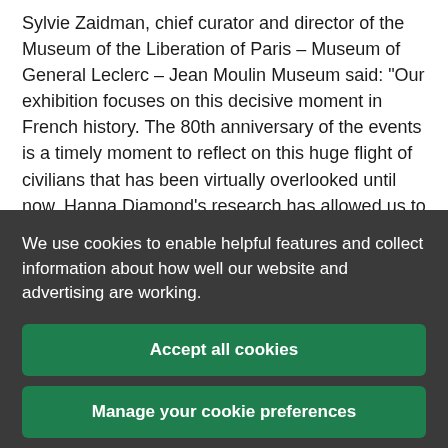Sylvie Zaidman, chief curator and director of the Museum of the Liberation of Paris – Museum of General Leclerc – Jean Moulin Museum said: “Our exhibition focuses on this decisive moment in French history. The 80th anniversary of the events is a timely moment to reflect on this huge flight of civilians that has been virtually overlooked until now. Hanna Diamond’s research has allowed us to bring together a variety of
We use cookies to enable helpful features and collect information about how well our website and advertising are working.
Accept all cookies
Manage your cookie preferences